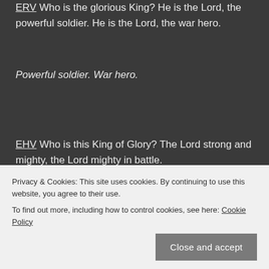ERV Who is the glorious King? He is the Lord, the powerful soldier. He is the Lord, the war hero.
Powerful soldier. War hero.
EHV Who is this King of Glory? The Lord strong and mighty, the Lord mighty in battle.
ESV Who is this King of glory? The Lord, strong and
EXB Who is this glorious King [King of glory]?
Privacy & Cookies: This site uses cookies. By continuing to use this website, you agree to their use.
To find out more, including how to control cookies, see here: Cookie Policy
Close and accept